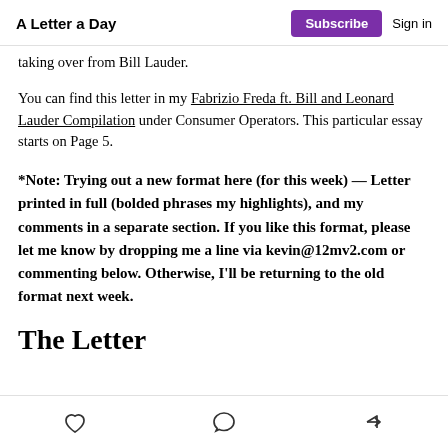A Letter a Day  Subscribe  Sign in
taking over from Bill Lauder.
You can find this letter in my Fabrizio Freda ft. Bill and Leonard Lauder Compilation under Consumer Operators. This particular essay starts on Page 5.
*Note: Trying out a new format here (for this week) — Letter printed in full (bolded phrases my highlights), and my comments in a separate section. If you like this format, please let me know by dropping me a line via kevin@12mv2.com or commenting below. Otherwise, I'll be returning to the old format next week.
The Letter
like  comment  share